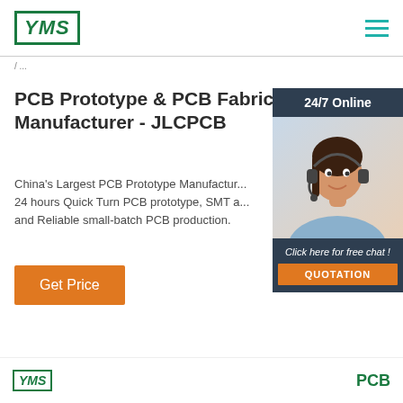[Figure (logo): YMS logo in green bordered box with italic bold text]
PCB Prototype & PCB Fabrication Manufacturer - JLCPCB
China's Largest PCB Prototype Manufacturer, 24 hours Quick Turn PCB prototype, SMT and Reliable small-batch PCB production.
Get Price
[Figure (photo): Customer service representative with headset, 24/7 Online chat widget with QUOTATION button]
[Figure (logo): YMS footer logo small]
PCB